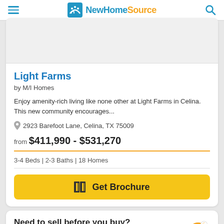NewHomeSource
Light Farms
by M/I Homes
Enjoy amenity-rich living like none other at Light Farms in Celina. This new community encourages...
2923 Barefoot Lane, Celina, TX 75009
from $411,990 - $531,270
3-4 Beds | 2-3 Baths | 18 Homes
Get Brochure
Need to sell before you buy?